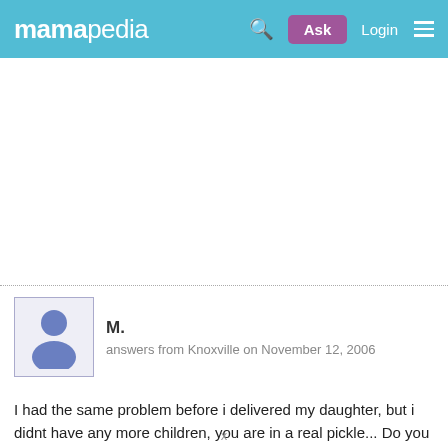mamapedia | Ask | Login
[Figure (logo): Mamapedia logo with search icon, Ask button, Login text, and hamburger menu on teal/cyan header bar]
[Figure (photo): User avatar placeholder — silhouette of a female figure in blue/navy on light background inside a square border]
M.
answers from Knoxville on November 12, 2006
I had the same problem before i delivered my daughter, but i didnt have any more children, you are in a real pickle... Do you have